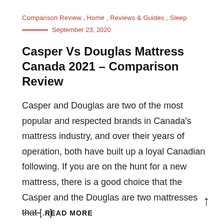Comparison Review , Home , Reviews & Guides , Sleep
September 23, 2020
Casper Vs Douglas Mattress Canada 2021 – Comparison Review
Casper and Douglas are two of the most popular and respected brands in Canada's mattress industry, and over their years of operation, both have built up a loyal Canadian following. If you are on the hunt for a new mattress, there is a good choice that the Casper and the Douglas are two mattresses that [...]
READ MORE